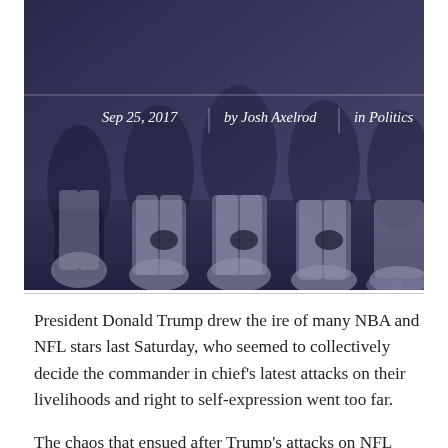[Figure (photo): Football players kneeling on the sideline, wearing white uniforms and cleats. Photo has a dark blue-purple overlay tint. Overlaid text shows date, author, and category.]
Sep 25, 2017   |   by Josh Axelrod   |   in Politics
President Donald Trump drew the ire of many NBA and NFL stars last Saturday, who seemed to collectively decide the commander in chief's latest attacks on their livelihoods and right to self-expression went too far.
The chaos that ensued after Trump's attacks on NFL players who kneel during the National Anthem and NBA players who don't want to visit the White House all but